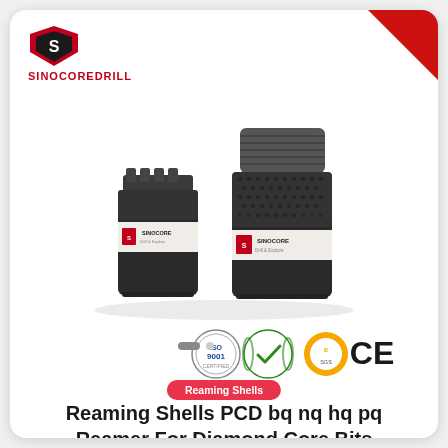[Figure (logo): SinoCoreDrill red and black shield logo with brand name SINOCOREDRILL in red text]
[Figure (photo): Two diamond core drill reaming shells / reamers with SINOCOREDRILL branding labels — one smaller BQ/NQ size and one larger HQ/PQ size with threaded top, both in dark grey/black metal finish]
[Figure (infographic): ISO 9001, quality checkmark wreath, SGS orange circle, and CE certification badges]
Reaming Shells
Reaming Shells PCD bq nq hq pq Reamer For Diamond Core Bits